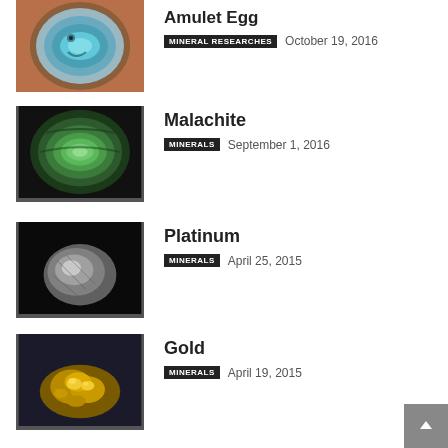[Figure (photo): Cross-section of a blue agate geode specimen]
Amulet Egg
MINERAL RESEARCHES   October 19, 2016
[Figure (photo): Cross-section of a malachite mineral specimen with green banded pattern]
Malachite
MINERALS   September 1, 2016
[Figure (photo): Platinum mineral specimen on black background]
Platinum
MINERALS   April 25, 2015
[Figure (photo): Gold mineral nugget specimen on dark background]
Gold
MINERALS   April 19, 2015